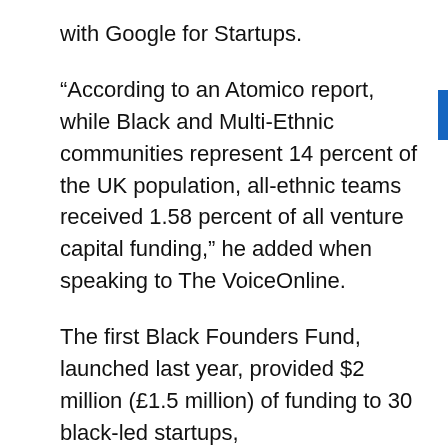with Google for Startups.
“According to an Atomico report, while Black and Multi-Ethnic communities represent 14 percent of the UK population, all-ethnic teams received 1.58 percent of all venture capital funding,” he added when speaking to The VoiceOnline.
The first Black Founders Fund, launched last year, provided $2 million (£1.5 million) of funding to 30 black-led startups,
Last year’s UK-based founders represented a wide variety of industries,